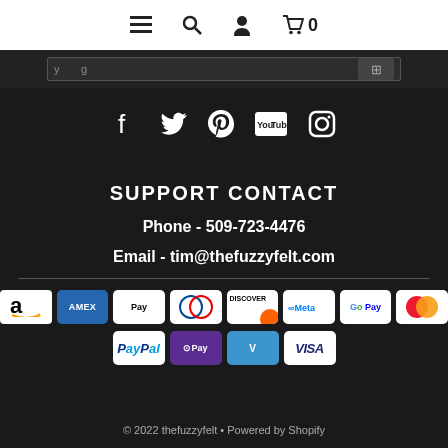≡  🔍  👤  🛒 0
[Figure (screenshot): Dark search bar row with partial text visible]
[Figure (infographic): Social media icons: Facebook, Twitter, Pinterest, YouTube, Instagram]
SUPPORT CONTACT
Phone - 509-723-4476
Email - tim@thefuzzyfelt.com
[Figure (infographic): Payment method icons: Amazon, Amex, Apple Pay, Diners Club, Discover, Meta, Google Pay, Mastercard, PayPal, OPay, Venmo, Visa]
© 2022 thefuzzyfelt • Powered by Shopify